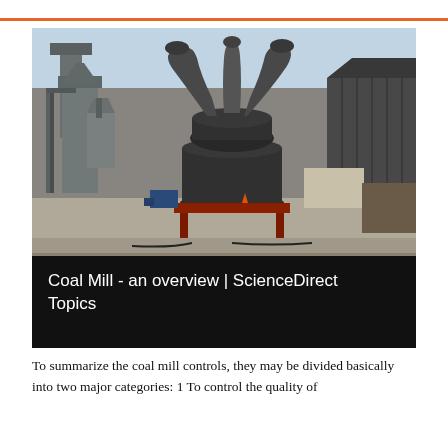[Figure (photo): Outdoor industrial photo of a coal mill facility showing large grinding/milling machines with cylindrical chambers, large curved ducts/pipes on top, silos and conveyor structures on the left, and a corrugated metal building on the right. Taken in daylight with a pale blue sky.]
Coal Mill - an overview | ScienceDirect Topics
To summarize the coal mill controls, they may be divided basically into two major categories: 1 To control the quality of coal to...